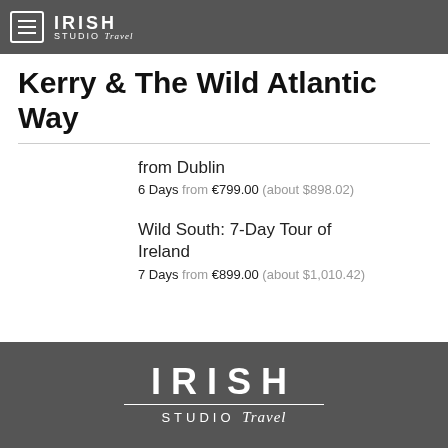IRISH STUDIO Travel
Kerry & The Wild Atlantic Way
from Dublin
6 Days from €799.00 (about $898.02)
Wild South: 7-Day Tour of Ireland
7 Days from €899.00 (about $1,010.42)
IRISH STUDIO Travel